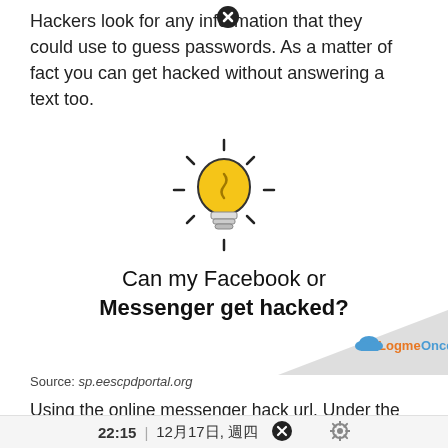Hackers look for any information that they could use to guess passwords. As a matter of fact you can get hacked without answering a text too.
[Figure (illustration): Light bulb icon with rays, yellow bulb with spiral filament]
Can my Facebook or Messenger get hacked?
[Figure (logo): Logme Once logo on a grey triangular banner in the bottom right corner]
Source: sp.eescpdportal.org
Using the online messenger hack url. Under the section " where you're logged in ", click on " see more " to view all devices that accessed your account.
22:15 | 12月17日, 週四